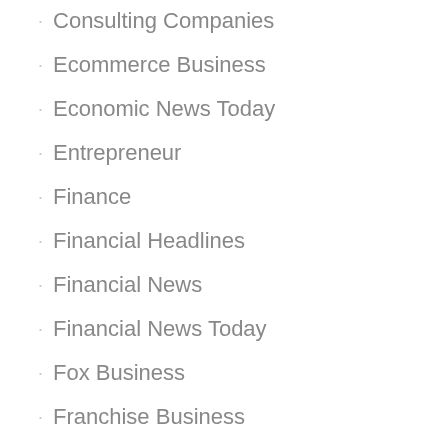Consulting Companies
Ecommerce Business
Economic News Today
Entrepreneur
Finance
Financial Headlines
Financial News
Financial News Today
Fox Business
Franchise Business
General Article
General Articles